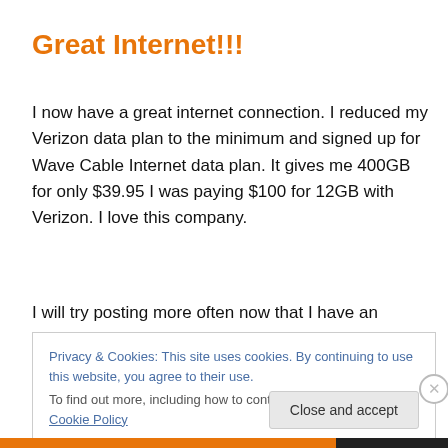Great Internet!!!
I now have a great internet connection.  I reduced my Verizon data plan to the minimum and signed up for Wave Cable Internet data plan.  It gives me 400GB for only $39.95  I was paying $100 for 12GB with Verizon.  I love this company.
I will try posting more often now that I have an Internet
Privacy & Cookies: This site uses cookies. By continuing to use this website, you agree to their use.
To find out more, including how to control cookies, see here: Cookie Policy
Close and accept